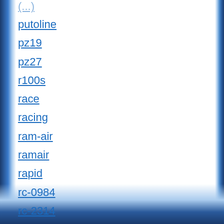putoline
pz19
pz27
r100s
race
racing
ram-air
ramair
rapid
rc-0984
rc-2314
rejet
remove
renault